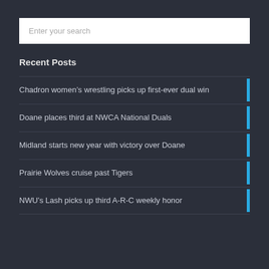Enter your search
Recent Posts
Chadron women’s wrestling picks up first-ever dual win
Doane places third at NWCA National Duals
Midland starts new year with victory over Doane
Prairie Wolves cruise past Tigers
NWU’s Lash picks up third A-R-C weekly honor